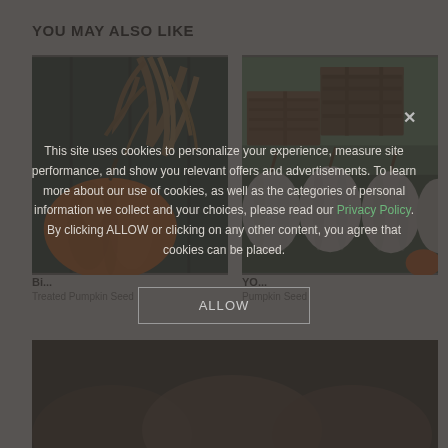YOU MAY ALSO LIKE
[Figure (photo): Orange pumpkin with dried corn stalks against dark background]
[Figure (photo): White pumpkins arranged near wooden crates outdoors]
Bi... Treated Pumpkin Seed
YO Pumpkin Seed
[Figure (photo): Dark pumpkins at bottom of page]
This site uses cookies to personalize your experience, measure site performance, and show you relevant offers and advertisements. To learn more about our use of cookies, as well as the categories of personal information we collect and your choices, please read our Privacy Policy. By clicking ALLOW or clicking on any other content, you agree that cookies can be placed.
ALLOW